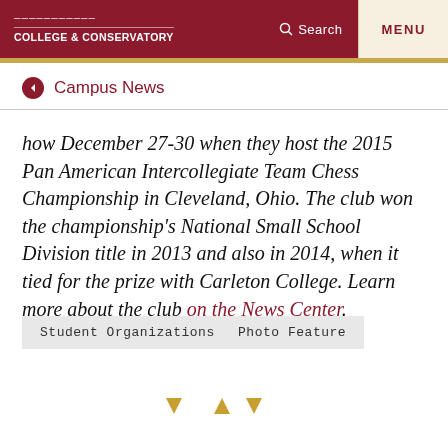COLLEGE & CONSERVATORY | Search | MENU
Campus News
how December 27-30 when they host the 2015 Pan American Intercollegiate Team Chess Championship in Cleveland, Ohio. The club won the championship's National Small School Division title in 2013 and also in 2014, when it tied for the prize with Carleton College. Learn more about the club on the News Center.
Student Organizations
Photo Feature
[Figure (other): Navigation arrows: down, up, down triangles in gold/yellow color]